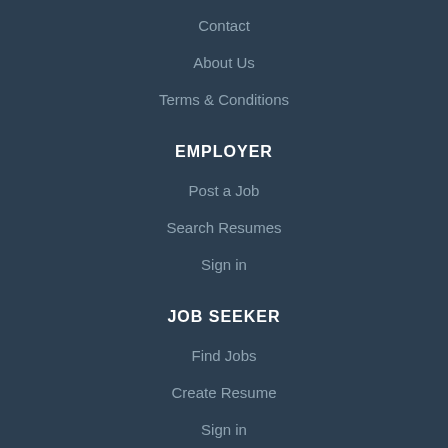Contact
About Us
Terms & Conditions
EMPLOYER
Post a Job
Search Resumes
Sign in
JOB SEEKER
Find Jobs
Create Resume
Sign in